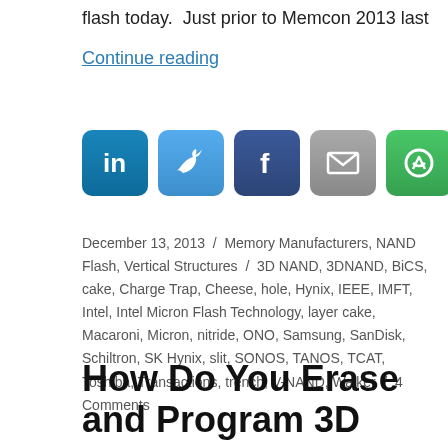flash today.  Just prior to Memcon 2013 last
Continue reading
[Figure (other): Social sharing icons row: LinkedIn, Twitter, Facebook, Email, ShareThis]
December 13, 2013 / Memory Manufacturers, NAND Flash, Vertical Structures / 3D NAND, 3DNAND, BiCS, cake, Charge Trap, Cheese, hole, Hynix, IEEE, IMFT, Intel, Intel Micron Flash Technology, layer cake, Macaroni, Micron, nitride, ONO, Samsung, SanDisk, Schiltron, SK Hynix, slit, SONOS, TANOS, TCAT, Toshiba, Transactions, trench, V-NAND, Walker / 4 Comments
How Do You Erase and Program 3D NAND?